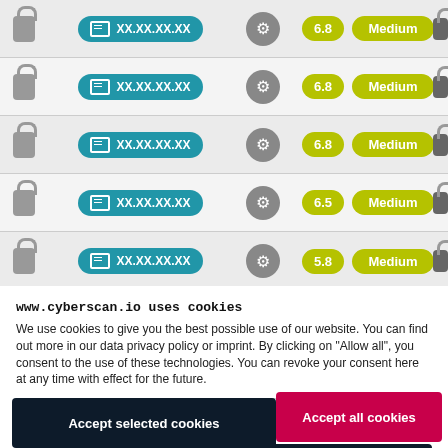[Figure (screenshot): Table rows showing IP addresses as 'XX.XX.XX.XX' with gear icons, score badges (6.8, 6.8, 6.8, 6.8, 6.5, 5.8) and 'Medium' severity badges, with lock icons on either side]
www.cyberscan.io uses cookies
We use cookies to give you the best possible use of our website. You can find out more in our data privacy policy or imprint. By clicking on "Allow all", you consent to the use of these technologies. You can revoke your consent here at any time with effect for the future.
Required   Statistic
More details
Accept selected cookies   Accept all cookies